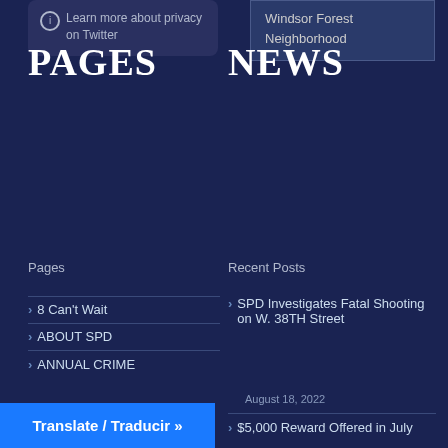Learn more about privacy on Twitter
Windsor Forest Neighborhood
PAGES
NEWS
Pages
Recent Posts
8 Can't Wait
ABOUT SPD
ANNUAL CRIME
SPD Investigates Fatal Shooting on W. 38TH Street
August 18, 2022
$5,000 Reward Offered in July
Translate / Traducir »